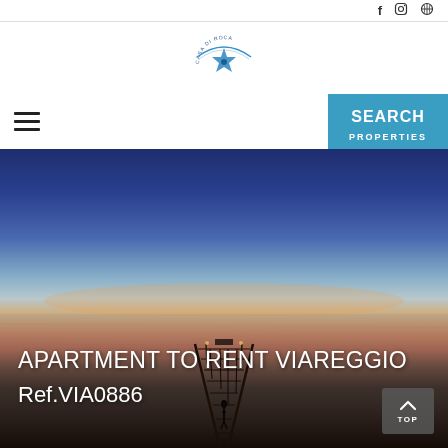f  [instagram icon]  [globe icon]
[Figure (logo): Casa di Roca logo with blue starfish and circular text]
[Figure (other): Hamburger menu icon (three horizontal lines)]
[Figure (other): SEARCH PROPERTIES button in blue with pentagon/chevron shape]
[Figure (photo): Sunset/dusk photo of a seaside pier extending into the water, gradient sky from deep blue to orange-pink near horizon, dark water and silhouetted pier structure]
APARTMENT TO RENT VIAREGGIO
Ref.VIA0886
[Figure (other): TOP button with upward arrow chevron in gray]